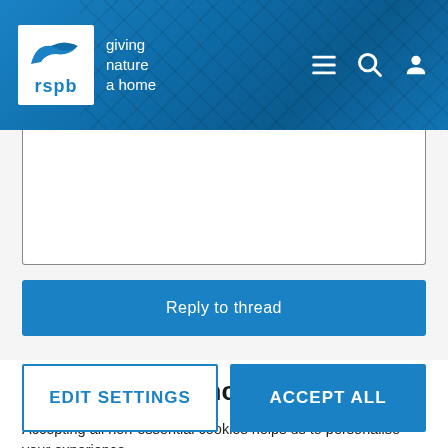[Figure (logo): RSPB logo with bird silhouette and text 'giving nature a home' on blue header background with cracked texture]
[Figure (screenshot): White text input/textarea box partially visible]
Reply to thread
Cookie Preferences
Accepting all non-essential cookies helps us to personalise your experience
EDIT SETTINGS
ACCEPT ALL